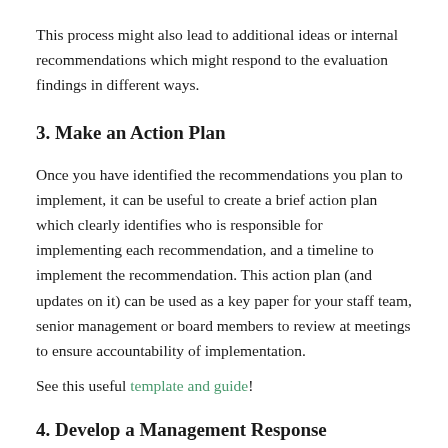This process might also lead to additional ideas or internal recommendations which might respond to the evaluation findings in different ways.
3. Make an Action Plan
Once you have identified the recommendations you plan to implement, it can be useful to create a brief action plan which clearly identifies who is responsible for implementing each recommendation, and a timeline to implement the recommendation. This action plan (and updates on it) can be used as a key paper for your staff team, senior management or board members to review at meetings to ensure accountability of implementation.
See this useful template and guide!
4. Develop a Management Response